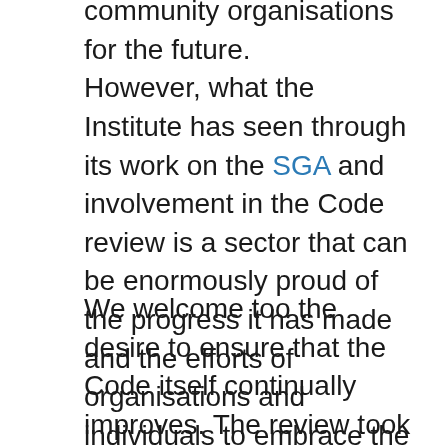community organisations for the future. However, what the Institute has seen through its work on the SGA and involvement in the Code review is a sector that can be enormously proud of the progress it has made and the efforts of organisations and individuals to embrace the Code and seek to go beyond it. We endorse this spirit and the drive to make further progress.
We welcome too the desire to ensure that the Code itself continually improves. The review took place against the backdrop of Black Lives Matter, and it is right that diversity and inclusion are front and centre in the new requirements. The Institute supports the drive to make organisations welcoming to all, and we recognise the benefits to decision making that diversity brings.